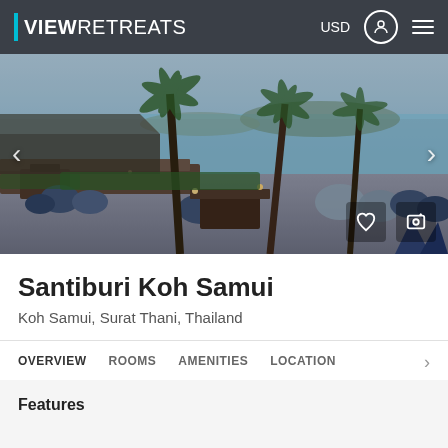VIEW RETREATS — USD
[Figure (photo): Beachside resort lounge area with bean bag chairs, low wooden tables, tropical palms, and ocean view at dusk. Blue ambiance with string lights.]
Santiburi Koh Samui
Koh Samui, Surat Thani, Thailand
OVERVIEW   ROOMS   AMENITIES   LOCATION
Features